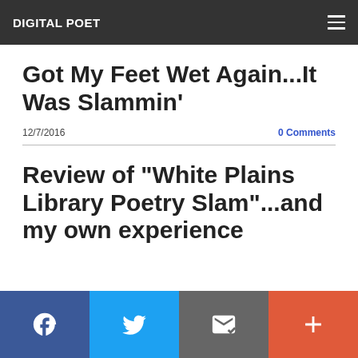DIGITAL POET
Got My Feet Wet Again...It Was Slammin'
12/7/2016
0 Comments
Review of "White Plains Library Poetry Slam"...and my own experience
Facebook | Twitter | Email | Plus